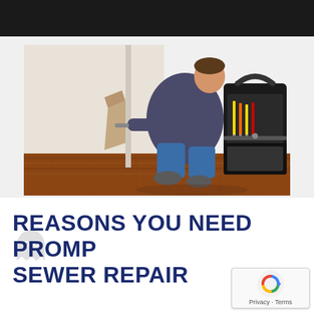[Figure (photo): A person crouching down working on pipes at a wall with a tool bag open nearby containing screwdrivers and tools, on a hardwood floor]
REASONS YOU NEED PROMPT SEWER REPAIR